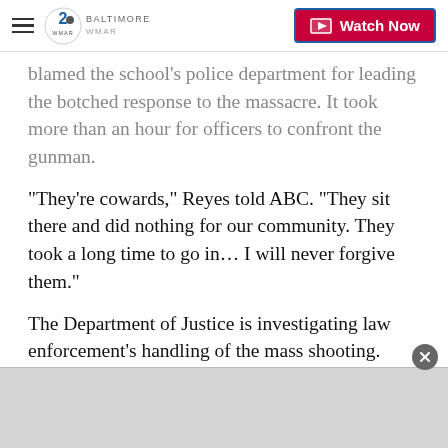WMAR Baltimore — Watch Now
blamed the school's police department for leading the botched response to the massacre. It took more than an hour for officers to confront the gunman.
"They're cowards," Reyes told ABC. "They sit there and did nothing for our community. They took a long time to go in… I will never forgive them."
The Department of Justice is investigating law enforcement's handling of the mass shooting.
Report a typo